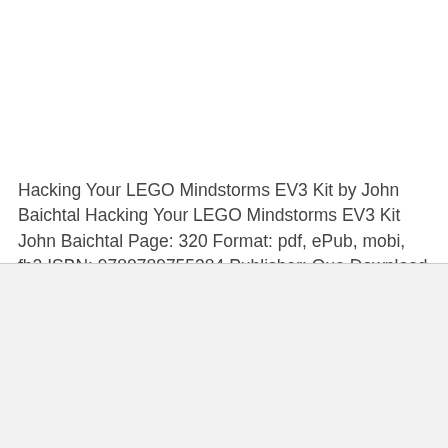Hacking Your LEGO Mindstorms EV3 Kit by John Baichtal Hacking Your LEGO Mindstorms EV3 Kit John Baichtal Page: 320 Format: pdf, ePub, mobi, fb2 ISBN: 9780789755384 Publisher: Que Download eBook Best sellers…
[Figure (other): Light gray rectangular placeholder image in the lower portion of the page against a slightly darker gray background]